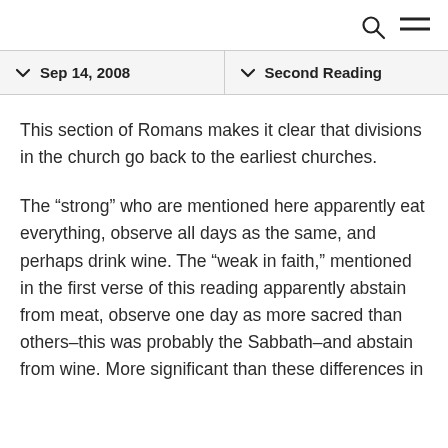Search | Menu
Sep 14, 2008 | Second Reading
This section of Romans makes it clear that divisions in the church go back to the earliest churches.
The “strong” who are mentioned here apparently eat everything, observe all days as the same, and perhaps drink wine. The “weak in faith,” mentioned in the first verse of this reading apparently abstain from meat, observe one day as more sacred than others–this was probably the Sabbath–and abstain from wine. More significant than these differences in